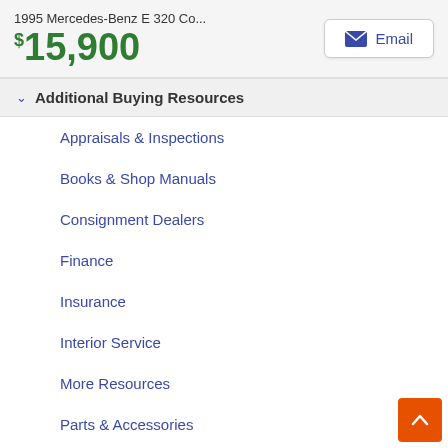1995 Mercedes-Benz E 320 Co... $15,900  Email
Additional Buying Resources
Appraisals & Inspections
Books & Shop Manuals
Consignment Dealers
Finance
Insurance
Interior Service
More Resources
Parts & Accessories
Secure Car Transactions
Shipping & Transport
Tires & Wheels